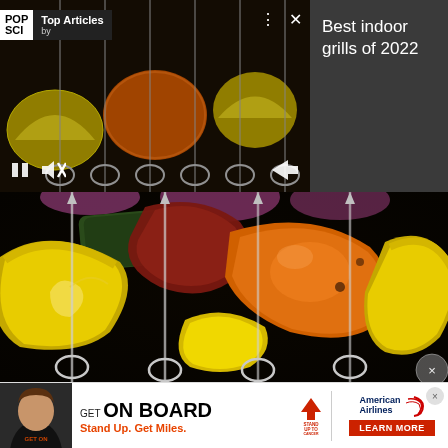[Figure (screenshot): Mobile app notification card showing a video thumbnail of vegetable kebab skewers with POP SCI Top Articles branding and media controls]
Best indoor grills of 2022
[Figure (photo): Close-up photo of colorful vegetable skewers on a grill showing lemon wedges, orange pepper, zucchini, tomato, and red onion on metal skewers against a dark background]
[Figure (screenshot): Advertisement banner: GET ON BOARD - Stand Up. Get Miles. featuring Stand Up To Cancer and American Airlines logos with a LEARN MORE button]